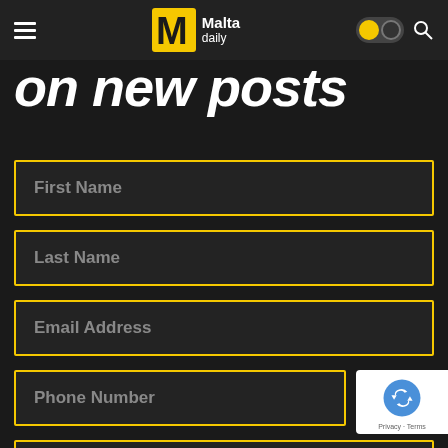Malta daily
on new posts
First Name
Last Name
Email Address
Phone Number
NEWS